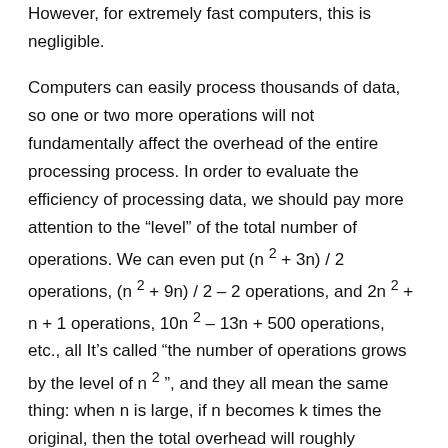However, for extremely fast computers, this is negligible.
Computers can easily process thousands of data, so one or two more operations will not fundamentally affect the overhead of the entire processing process. In order to evaluate the efficiency of processing data, we should pay more attention to the "level" of the total number of operations. We can even put (n^2 + 3n) / 2 operations, (n^2 + 9n) / 2 – 2 operations, and 2n^2 + n + 1 operations, 10n^2 – 13n + 500 operations, etc., all It's called "the number of operations grows by the level of n^2", and they all mean the same thing: when n is large, if n becomes k times the original, then the total overhead will roughly become the original k^2 times. In 1894, the German